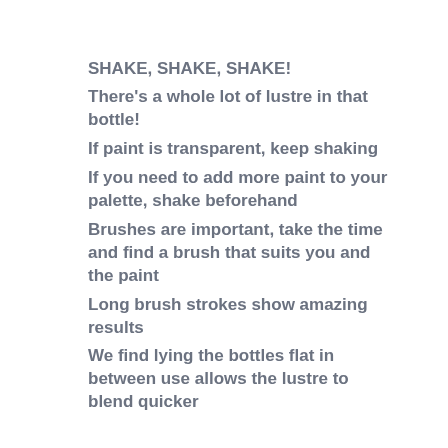SHAKE, SHAKE, SHAKE!
There's a whole lot of lustre in that bottle!
If paint is transparent, keep shaking
If you need to add more paint to your palette, shake beforehand
Brushes are important, take the time and find a brush that suits you and the paint
Long brush strokes show amazing results
We find lying the bottles flat in between use allows the lustre to blend quicker